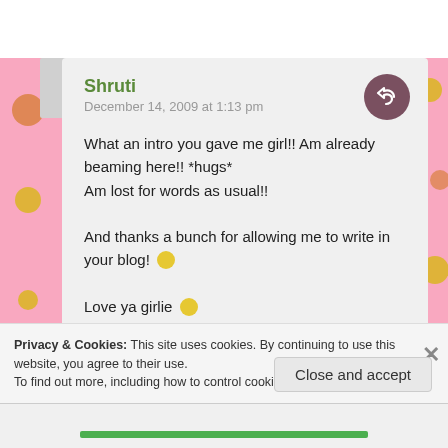Shruti
December 14, 2009 at 1:13 pm
What an intro you gave me girl!! Am already beaming here!! *hugs*
Am lost for words as usual!!

And thanks a bunch for allowing me to write in your blog! 🙂

Love ya girlie 🙂
Like
Privacy & Cookies: This site uses cookies. By continuing to use this website, you agree to their use.
To find out more, including how to control cookies, see here: Cookie Policy
Close and accept